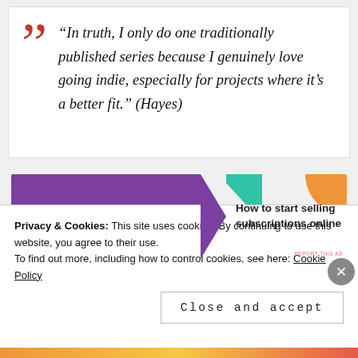“In truth, I only do one traditionally published series because I genuinely love going indie, especially for projects where it’s a better fit.” (Hayes)
[Figure (other): WooCommerce advertisement banner: purple left side with WooCommerce logo, teal triangle, and right side with text 'How to start selling subscriptions online' with orange and blue decorative shapes]
H… t… ll… b… th… th… i… d
Privacy & Cookies: This site uses cookies. By continuing to use this website, you agree to their use.
To find out more, including how to control cookies, see here: Cookie Policy